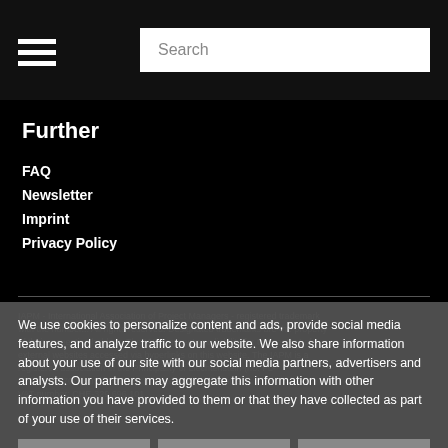Search
Further
FAQ
Newsletter
Imprint
Privacy Policy
IAPM - International Association of Project Managers - registered trademark with the number... All rights reserved. Designated trademarks are the property of their respective holders. The IAPM accepts no liability for the content of external websites accessed via hyperlinks on this website. The IAPM is a registered association in the Principality of Liechtenstein (no. FL-0002.455.970-5) and has been granted non-profit status. VAT-number: CHE-329.696.101
We use cookies to personalize content and ads, provide social media features, and analyze traffic to our website. We also share information about your use of our site with our social media partners, advertisers and analysts. Our partners may aggregate this information with other information you have provided to them or that they have collected as part of your use of their services.